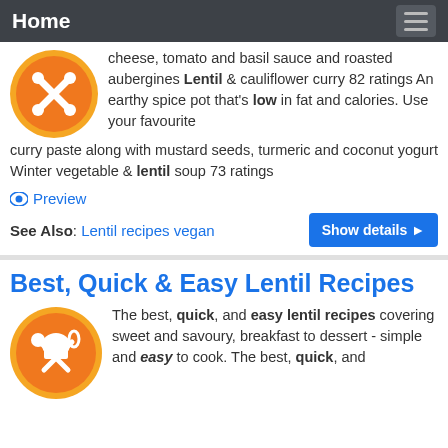Home
cheese, tomato and basil sauce and roasted aubergines Lentil & cauliflower curry 82 ratings An earthy spice pot that's low in fat and calories. Use your favourite curry paste along with mustard seeds, turmeric and coconut yogurt Winter vegetable & lentil soup 73 ratings
Preview
See Also: Lentil recipes vegan
Show details
Best, Quick & Easy Lentil Recipes
The best, quick, and easy lentil recipes covering sweet and savoury, breakfast to dessert - simple and easy to cook. The best, quick, and